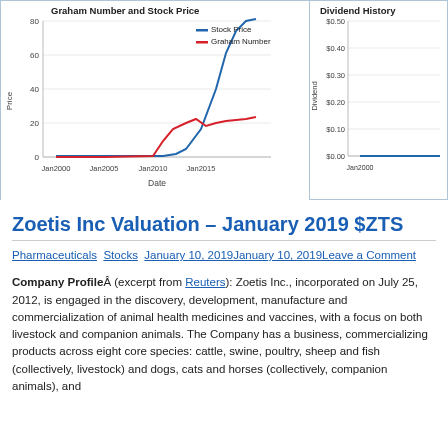[Figure (line-chart): Line chart showing Stock Price (blue) and Graham Number (red) from Jan2000 to Jan2015+. Stock Price rises sharply after Jan2013. Graham Number rises modestly then flattens.]
[Figure (line-chart): Partial dividend history chart visible, y-axis from $0.00 to $0.50, x-axis starts at Jan2000.]
Zoetis Inc Valuation – January 2019 $ZTS
Pharmaceuticals Stocks January 10, 2019January 10, 2019Leave a Comment
Company Profile (excerpt from Reuters): Zoetis Inc., incorporated on July 25, 2012, is engaged in the discovery, development, manufacture and commercialization of animal health medicines and vaccines, with a focus on both livestock and companion animals. The Company has a business, commercializing products across eight core species: cattle, swine, poultry, sheep and fish (collectively, livestock) and dogs, cats and horses (collectively, companion animals), and